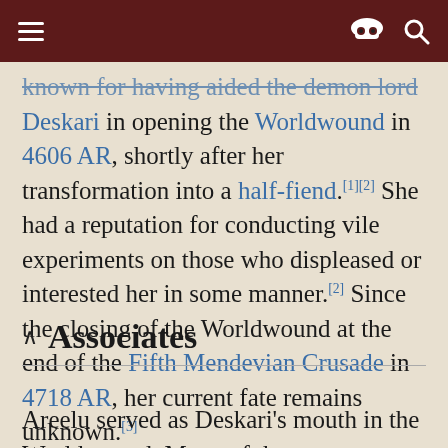[navigation bar with hamburger menu, incognito icon, search icon]
known for having aided the demon lord Deskari in opening the Worldwound in 4606 AR, shortly after her transformation into a half-fiend.[1][2] She had a reputation for conducting vile experiments on those who displeased or interested her in some manner.[2] Since the closing of the Worldwound at the end of the Fifth Mendevian Crusade in 4718 AR, her current fate remains unknown.[3]
Associates
Areelu served as Deskari's mouth in the Worldwound. Many of the Worldwound's